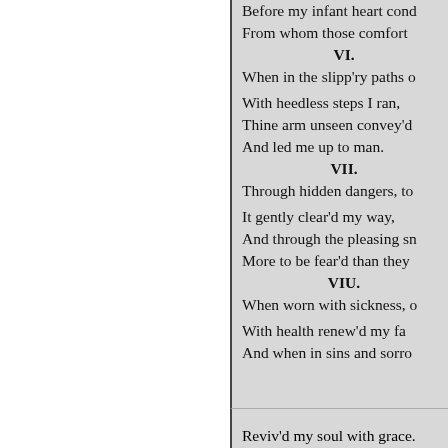Before my infant heart cond
From whom those comfort
VI.
When in the slipp'ry paths o
With heedless steps I ran,
Thine arm unseen convey'd
And led me up to man.
VII.
Through hidden dangers, to
It gently clear'd my way,
And through the pleasing sn
More to be fear'd than they
VIU.
When worn with sickness, o
With health renew'd my fa
And when in sins and sorro
Reviv'd my soul with grace.
« Previous